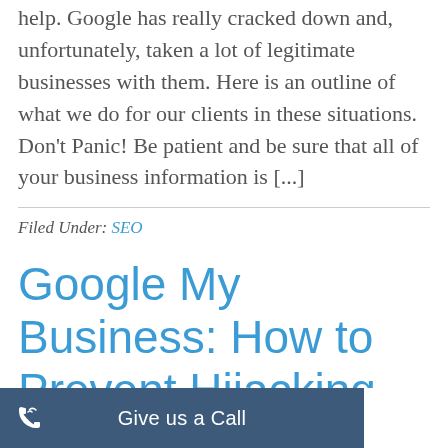help. Google has really cracked down and, unfortunately, taken a lot of legitimate businesses with them. Here is an outline of what we do for our clients in these situations. Don't Panic! Be patient and be sure that all of your business information is [...]
Filed Under: SEO
Google My Business: How to Prevent Hijacking and Not Get Suspended
[Figure (other): Blue call-to-action bar at the bottom with phone icon and text 'Give us a Call']